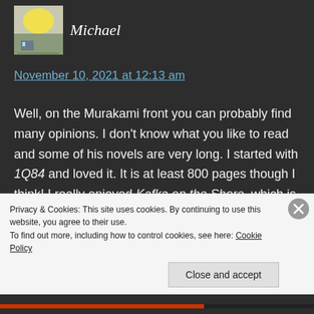[Figure (photo): Avatar thumbnail image of user Michael - small illustrated avatar showing an outdoor/landscape scene]
Michael
November 10, 2021 at 12:13 am
Well, on the Murakami front you can probably find many opinions. I don't know what you like to read and some of his novels are very long. I started with 1Q84 and loved it. It is at least 800 pages though I think! I really enjoyed Kafka on the Shore, which is also fairly long, and I think for a shorter work Norwegian Wood is a good choice, too.
Privacy & Cookies: This site uses cookies. By continuing to use this website, you agree to their use.
To find out more, including how to control cookies, see here: Cookie Policy
Close and accept